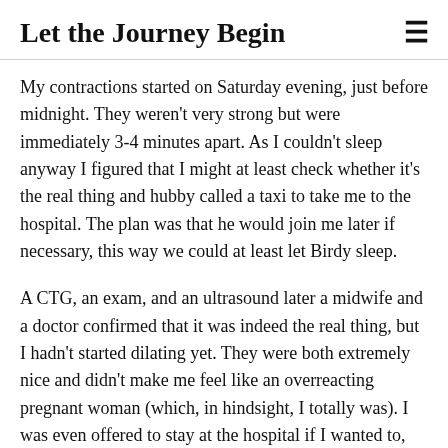Let the Journey Begin
My contractions started on Saturday evening, just before midnight. They weren't very strong but were immediately 3-4 minutes apart. As I couldn't sleep anyway I figured that I might at least check whether it's the real thing and hubby called a taxi to take me to the hospital. The plan was that he would join me later if necessary, this way we could at least let Birdy sleep.
A CTG, an exam, and an ultrasound later a midwife and a doctor confirmed that it was indeed the real thing, but I hadn't started dilating yet. They were both extremely nice and didn't make me feel like an overreacting pregnant woman (which, in hindsight, I totally was). I was even offered to stay at the hospital if I wanted to, but I decided to call another taxi and